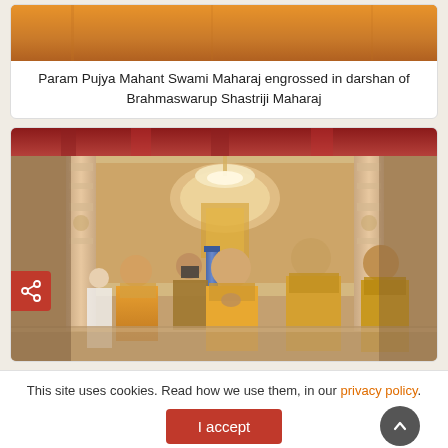[Figure (photo): Partial view of saffron/orange robes at top of page, cropped photo of Param Pujya Mahant Swami Maharaj]
Param Pujya Mahant Swami Maharaj engrossed in darshan of Brahmaswarup Shastriji Maharaj
[Figure (photo): Param Pujya Mahant Swami Maharaj and other saffron-robed monks in prayer/darshan inside an ornately decorated Hindu temple with chandeliers, carved pillars, and colorful shrine]
This site uses cookies. Read how we use them, in our privacy policy.
I accept